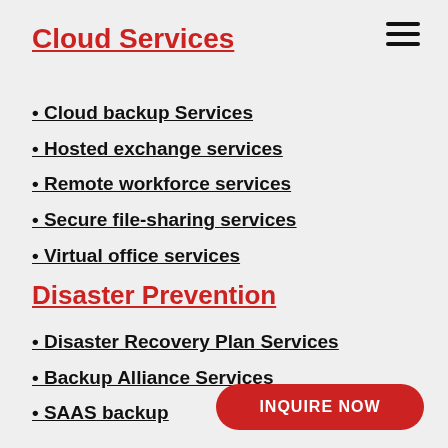Cloud Services
• Cloud backup Services
• Hosted exchange services
• Remote workforce services
• Secure file-sharing services
• Virtual office services
Disaster Prevention
• Disaster Recovery Plan Services
• Backup Alliance Services
• SAAS backup
INQUIRE NOW